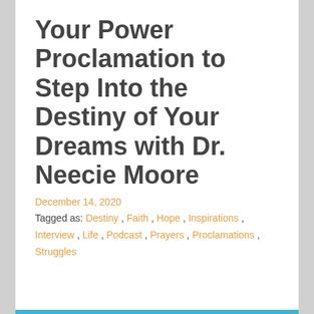Your Power Proclamation to Step Into the Destiny of Your Dreams with Dr. Neecie Moore
December 14, 2020
Tagged as: Destiny, Faith, Hope, Inspirations, Interview, Life, Podcast, Prayers, Proclamations, Struggles